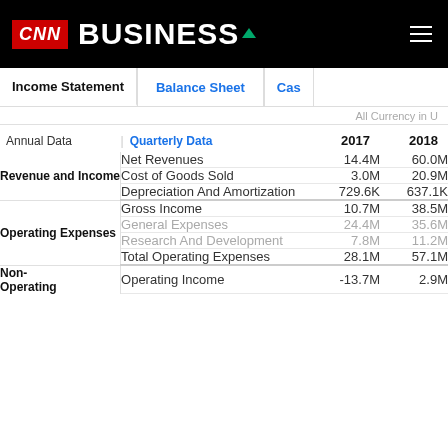CNN Business
| Category | Item | 2017 | 2018 |
| --- | --- | --- | --- |
| Revenue and Income | Net Revenues | 14.4M | 60.0M |
|  | Cost of Goods Sold | 3.0M | 20.9M |
|  | Depreciation And Amortization | 729.6K | 637.1K |
| Operating Expenses | Gross Income | 10.7M | 38.5M |
|  | General Expenses | 24.4M | 35.6M |
|  | Research And Development | 7.8M | 11.2M |
|  | Total Operating Expenses | 28.1M | 57.1M |
| Non-Operating | Operating Income | -13.7M | 2.9M |